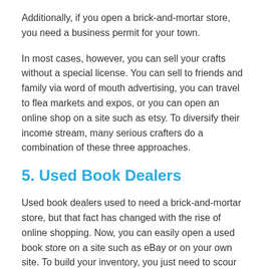Additionally, if you open a brick-and-mortar store, you need a business permit for your town.
In most cases, however, you can sell your crafts without a special license. You can sell to friends and family via word of mouth advertising, you can travel to flea markets and expos, or you can open an online shop on a site such as etsy. To diversify their income stream, many serious crafters do a combination of these three approaches.
5. Used Book Dealers
Used book dealers used to need a brick-and-mortar store, but that fact has changed with the rise of online shopping. Now, you can easily open a used book store on a site such as eBay or on your own site. To build your inventory, you just need to scour the shelves at thrift